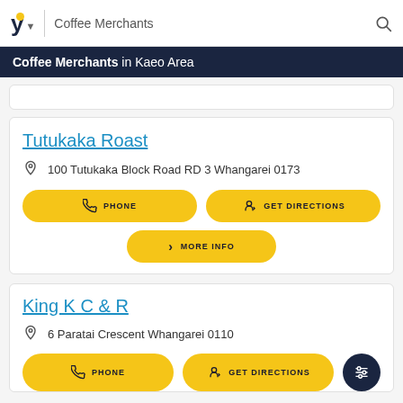Coffee Merchants
Coffee Merchants in Kaeo Area
Tutukaka Roast
100 Tutukaka Block Road RD 3 Whangarei 0173
PHONE
GET DIRECTIONS
MORE INFO
King K C & R
6 Paratai Crescent Whangarei 0110
PHONE
GET DIRECTIONS